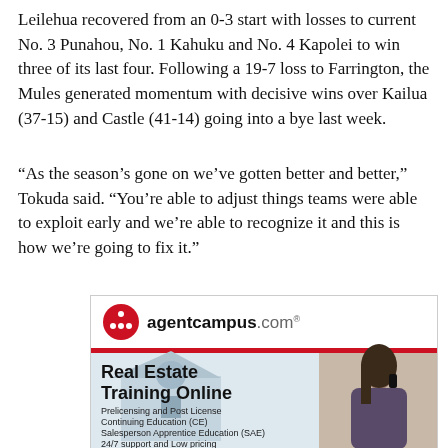Leilehua recovered from an 0-3 start with losses to current No. 3 Punahou, No. 1 Kahuku and No. 4 Kapolei to win three of its last four. Following a 19-7 loss to Farrington, the Mules generated momentum with decisive wins over Kailua (37-15) and Castle (41-14) going into a bye last week.
“As the season’s gone on we’ve gotten better and better,” Tokuda said. “You’re able to adjust things teams were able to exploit early and we’re able to recognize it and this is how we’re going to fix it.”
[Figure (other): Advertisement for agentcampus.com — Real Estate Training Online. Shows logo with red circle icon, red bar separator, bold headline 'Real Estate Training Online', description lines: 'Prelicensing and Post License', 'Continuing Education (CE)', 'Salesperson Apprentice Education (SAE)', '24/7 support and Low pricing'. Photo of woman talking on phone on right side.]